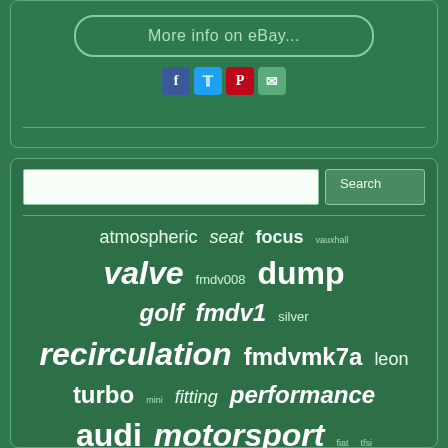[Figure (screenshot): eBay more info button with rounded border on green textured background]
[Figure (infographic): Social media share icons: Facebook, Twitter, Pinterest, Email]
[Figure (infographic): Search bar with Search button]
atmospheric seat focus vauxhall valve fmdv008 dump golf fmdv1 silver recirculation fmdvmk7a leon turbo mini fitting performance audi motorsport fiat tfsi